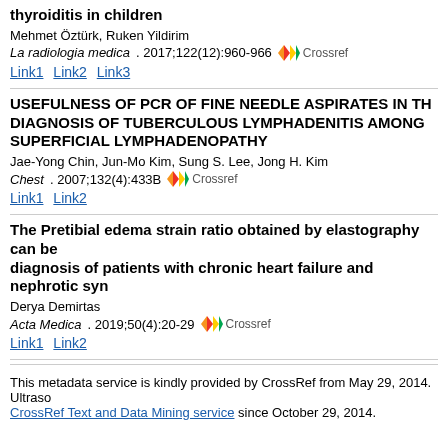thyroiditis in children
Mehmet Öztürk, Ruken Yildirim
La radiologia medica. 2017;122(12):960-966
Link1 Link2 Link3
USEFULNESS OF PCR OF FINE NEEDLE ASPIRATES IN THE DIAGNOSIS OF TUBERCULOUS LYMPHADENITIS AMONG SUPERFICIAL LYMPHADENOPATHY
Jae-Yong Chin, Jun-Mo Kim, Sung S. Lee, Jong H. Kim
Chest. 2007;132(4):433B
Link1 Link2
The Pretibial edema strain ratio obtained by elastography can be used in the diagnosis of patients with chronic heart failure and nephrotic syndrome
Derya Demirtas
Acta Medica. 2019;50(4):20-29
Link1 Link2
This metadata service is kindly provided by CrossRef from May 29, 2014. CrossRef Text and Data Mining service since October 29, 2014.